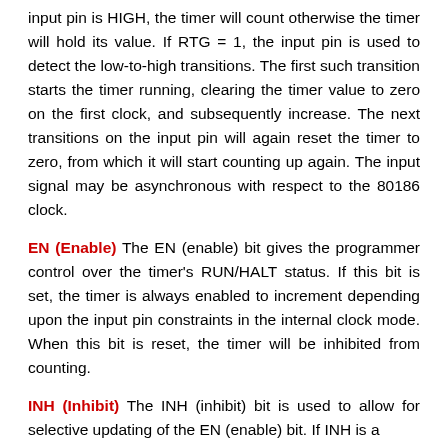input pin is HIGH, the timer will count otherwise the timer will hold its value. If RTG = 1, the input pin is used to detect the low-to-high transitions. The first such transition starts the timer running, clearing the timer value to zero on the first clock, and subsequently increase. The next transitions on the input pin will again reset the timer to zero, from which it will start counting up again. The input signal may be asynchronous with respect to the 80186 clock.
EN (Enable) The EN (enable) bit gives the programmer control over the timer's RUN/HALT status. If this bit is set, the timer is always enabled to increment depending upon the input pin constraints in the internal clock mode. When this bit is reset, the timer will be inhibited from counting.
INH (Inhibit) The INH (inhibit) bit is used to allow for selective updating of the EN (enable) bit. If INH is a